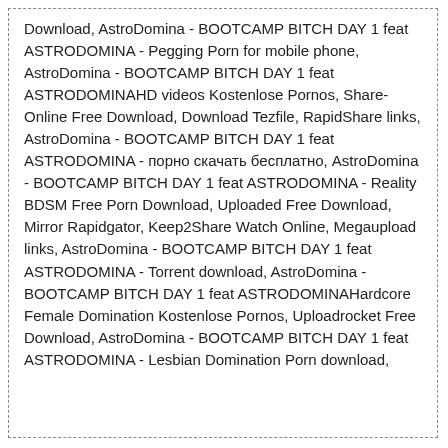Download, AstroDomina - BOOTCAMP BITCH DAY 1 feat ASTRODOMINA - Pegging Porn for mobile phone, AstroDomina - BOOTCAMP BITCH DAY 1 feat ASTRODOMINAHD videos Kostenlose Pornos, Share-Online Free Download, Download Tezfile, RapidShare links, AstroDomina - BOOTCAMP BITCH DAY 1 feat ASTRODOMINA - порно скачать бесплатно, AstroDomina - BOOTCAMP BITCH DAY 1 feat ASTRODOMINA - Reality BDSM Free Porn Download, Uploaded Free Download, Mirror Rapidgator, Keep2Share Watch Online, Megaupload links, AstroDomina - BOOTCAMP BITCH DAY 1 feat ASTRODOMINA - Torrent download, AstroDomina - BOOTCAMP BITCH DAY 1 feat ASTRODOMINAHardcore Female Domination Kostenlose Pornos, Uploadrocket Free Download, AstroDomina - BOOTCAMP BITCH DAY 1 feat ASTRODOMINA - Lesbian Domination Porn download,